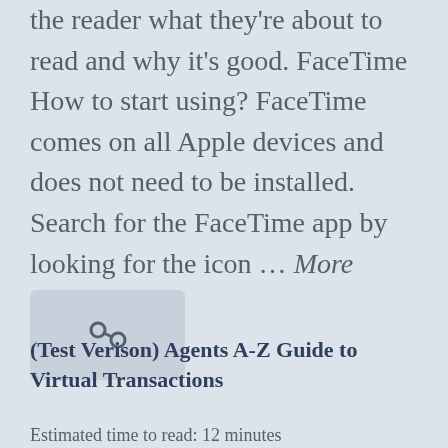the reader what they're about to read and why it's good. FaceTime How to start using? FaceTime comes on all Apple devices and does not need to be installed. Search for the FaceTime app by looking for the icon … More
[Figure (other): A small icon placeholder box with a chain/link icon symbol]
(Test Verison) Agents A-Z Guide to Virtual Transactions
Estimated time to read: 12 minutes